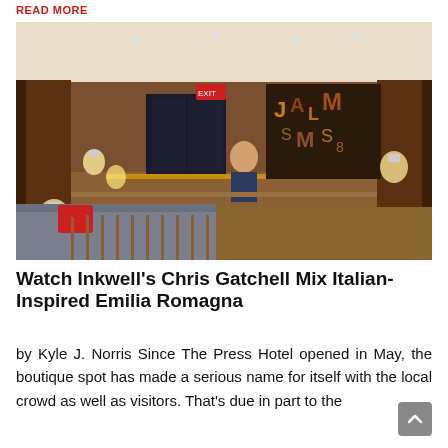READ MORE
[Figure (photo): Interior of The Press Hotel lobby showing a wood-paneled reception desk, wall sconces, a decorative art installation on the back wall with large mixed-media letters, a staff member behind the counter, and a gray couch with a red pillow in the foreground.]
Watch Inkwell's Chris Gatchell Mix Italian-Inspired Emilia Romagna
by Kyle J. Norris Since The Press Hotel opened in May, the boutique spot has made a serious name for itself with the local crowd as well as visitors. That's due in part to the